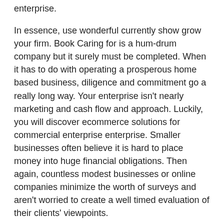enterprise.
In essence, use wonderful currently show grow your firm. Book Caring for is a hum-drum company but it surely must be completed. When it has to do with operating a prosperous home based business, diligence and commitment go a really long way. Your enterprise isn't nearly marketing and cash flow and approach. Luckily, you will discover ecommerce solutions for commercial enterprise enterprise. Smaller businesses often believe it is hard to place money into huge financial obligations. Then again, countless modest businesses or online companies minimize the worth of surveys and aren't worried to create a well timed evaluation of their clients' viewpoints.
If you would like your enterprise to run in time and efficiently, then you need to decide on a company which provides strategies management services and assures they can fulfill the transportation wants of your institution. The businesses maintain plenty of data associated with their organization. Third-wave companies are to some extent more interested in establishing the whereabouts of a better results in. The employee local rental company can certainly help by talking to on individual employee work increase and career routes. Find